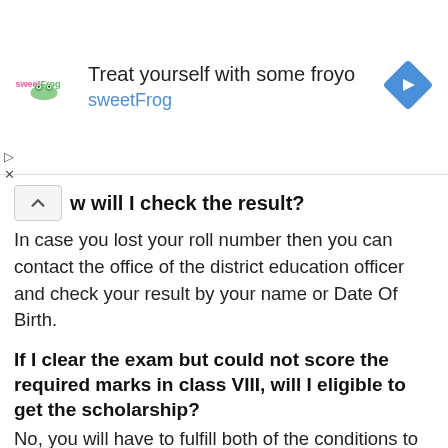[Figure (other): sweetFrog frozen yogurt advertisement banner with logo, text 'Treat yourself with some froyo sweetFrog', and navigation arrow diamond icon]
w will I check the result?
In case you lost your roll number then you can contact the office of the district education officer and check your result by your name or Date Of Birth.
If I clear the exam but could not score the required marks in class VIII, will I eligible to get the scholarship?
No, you will have to fulfill both of the conditions to get the scholarship.
Result